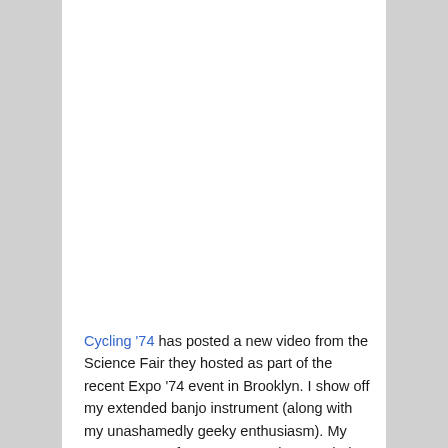Cycling '74 has posted a new video from the Science Fair they hosted as part of the recent Expo '74 event in Brooklyn. I show off my extended banjo instrument (along with my unashamedly geeky enthusiasm). My segment runs from 2:16-3:13, but watch the whole thing and marvel at the wonderful, strange things people do with Max (and